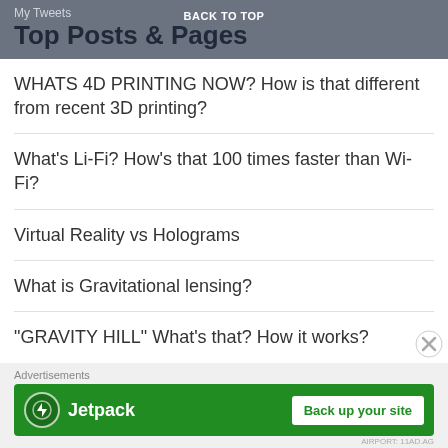My Tweets
BACK TO TOP
Top Posts & Pages
WHATS 4D PRINTING NOW? How is that different from recent 3D printing?
What's Li-Fi? How's that 100 times faster than Wi-Fi?
Virtual Reality vs Holograms
What is Gravitational lensing?
"GRAVITY HILL" What's that? How it works?
CELEBRATING 100th ARTICLE WITH MY 100 FELLOW BLOGGERES!!
[Figure (other): Jetpack advertisement banner with green background, Jetpack logo, and 'Back up your site' button]